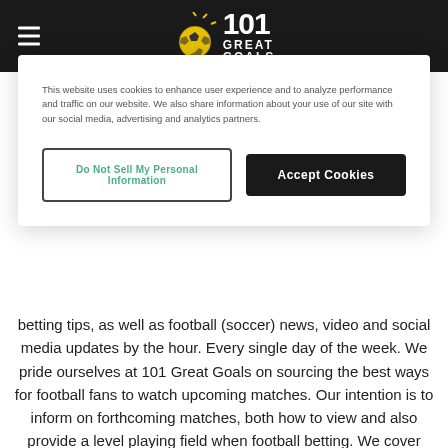101 Great Goals
This website uses cookies to enhance user experience and to analyze performance and traffic on our website. We also share information about your use of our site with our social media, advertising and analytics partners.
Do Not Sell My Personal Information
Accept Cookies
betting tips, as well as football (soccer) news, video and social media updates by the hour. Every single day of the week. We pride ourselves at 101 Great Goals on sourcing the best ways for football fans to watch upcoming matches. Our intention is to inform on forthcoming matches, both how to view and also provide a level playing field when football betting. We cover some of the biggest teams in the world, including Manchester United, Arsenal, Chelsea, Liverpool, Real Madrid, Barcelona and Tottenham. 101 Great Goals is also active on social media, including Facebook and Twitter.